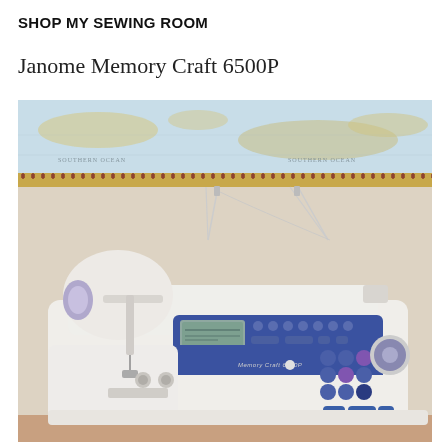SHOP MY SEWING ROOM
Janome Memory Craft 6500P
[Figure (photo): A Janome Memory Craft 6500P computerized sewing machine sitting on a white table. The machine is white with a blue control panel featuring an LCD display and multiple buttons. The background shows a cream/beige wall with a decorative world map wallpaper border. Thread guides extend upward from the machine.]